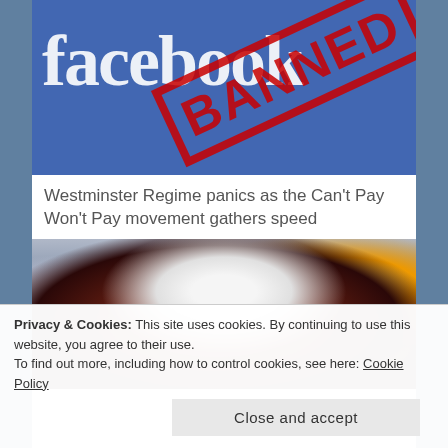[Figure (illustration): Facebook logo text on blue background with red BANNED stamp overlaid at an angle]
Westminster Regime panics as the Can't Pay Won't Pay movement gathers speed
[Figure (photo): A hand holding a light bulb against a blurred background of lights]
Privacy & Cookies: This site uses cookies. By continuing to use this website, you agree to their use.
To find out more, including how to control cookies, see here: Cookie Policy
Close and accept